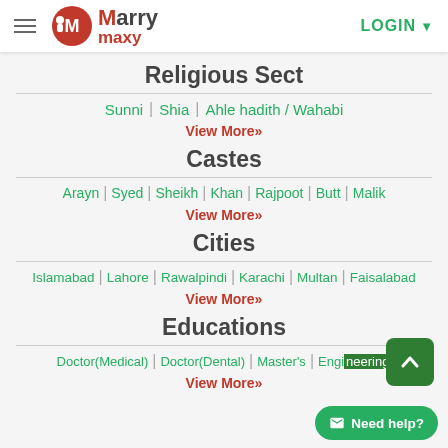MarryMaxy | LOGIN
Religious Sect
Sunni | Shia | Ahle hadith / Wahabi
View More»
Castes
Arayn | Syed | Sheikh | Khan | Rajpoot | Butt | Malik
View More»
Cities
Islamabad | Lahore | Rawalpindi | Karachi | Multan | Faisalabad
View More»
Educations
Doctor(Medical) | Doctor(Dental) | Master's | Engineering
View More»